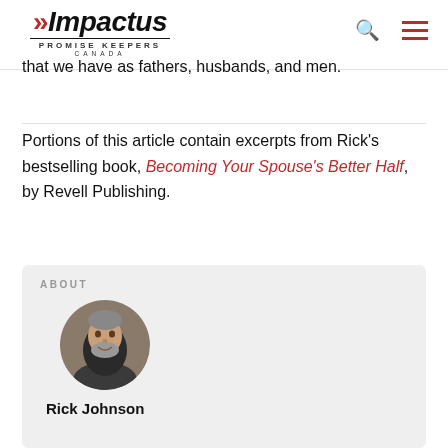Impactus Promise Keepers Canada
that we have as fathers, husbands, and men.
Portions of this article contain excerpts from Rick's bestselling book, Becoming Your Spouse's Better Half, by Revell Publishing.
ABOUT
[Figure (photo): Circular portrait photo of Rick Johnson, a middle-aged man with grey hair and beard, wearing a dark jacket, outdoors background.]
Rick Johnson